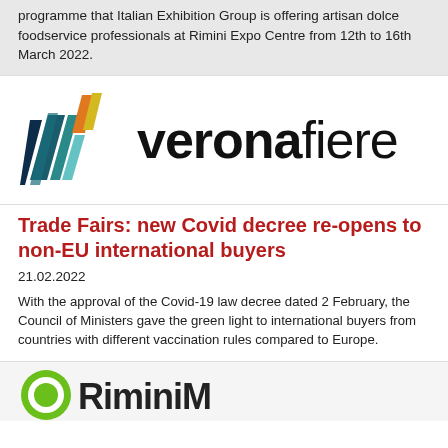programme that Italian Exhibition Group is offering artisan dolce foodservice professionals at Rimini Expo Centre from 12th to 16th March 2022.
[Figure (logo): Veronafiere logo: stylized geometric W shape in teal, dark blue, orange, and yellow colors on the left, followed by the text 'veronafiere' in bold black sans-serif font]
Trade Fairs: new Covid decree re-opens to non-EU international buyers
21.02.2022
With the approval of the Covid-19 law decree dated 2 February, the Council of Ministers gave the green light to international buyers from countries with different vaccination rules compared to Europe.
[Figure (logo): Partial logo visible at bottom of page — green circle with white design element, and large bold text beginning with 'Rimini M...' partially cut off]